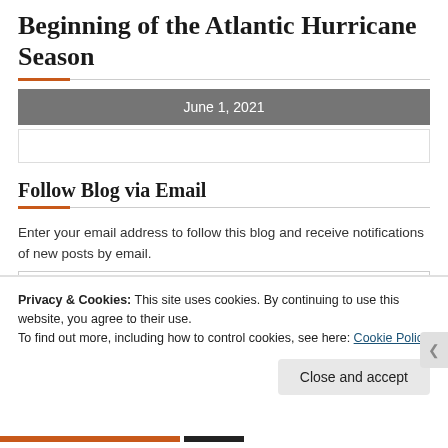Beginning of the Atlantic Hurricane Season
Follow Blog via Email
Enter your email address to follow this blog and receive notifications of new posts by email.
Privacy & Cookies: This site uses cookies. By continuing to use this website, you agree to their use.
To find out more, including how to control cookies, see here: Cookie Policy
Close and accept